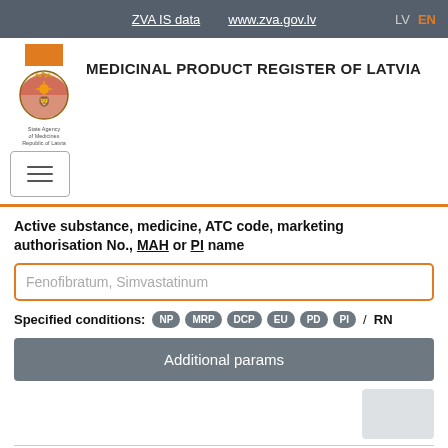ZVA IS data  www.zva.gov.lv  LV  EN
MEDICINAL PRODUCT REGISTER OF LATVIA
[Figure (logo): Coat of arms of Latvia with text: State Agency of Medicines Republic of Latvia]
Active substance, medicine, ATC code, marketing authorisation No., MAH or PI name
Fenofibratum, Simvastatinum
Specified conditions: NP MRP DCP EU PD PI / RN
Additional params
Filter by strength (any)